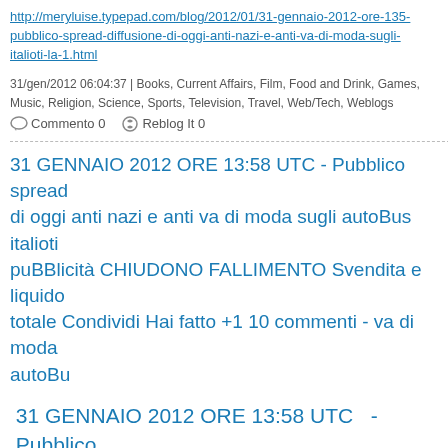http://meryluise.typepad.com/blog/2012/01/31-gennaio-2012-ore-135-pubblico-spread-diffusione-di-oggi-anti-nazi-e-anti-va-di-moda-sugli-italioti-la-1.html
31/gen/2012 06:04:37 | Books, Current Affairs, Film, Food and Drink, Games, Music, Religion, Science, Sports, Television, Travel, Web/Tech, Weblogs
Commento 0   Reblog It 0
31 GENNAIO 2012 ORE 13:58 UTC - Pubblico spread di oggi anti nazi e anti va di moda sugli autoBus italioti puBBlicità CHIUDONO FALLIMENTO Svendita e liquido totale Condividi Hai fatto +1 10 commenti - va di moda autoBu
31 GENNAIO 2012 ORE 13:58 UTC  -  Pubblico spread diffusione di oggi  anti nazi e anti va di moda sugli autoBus italioti la puBBlicità CHIUDONO FALLIMENTO Svendita e liquidazion